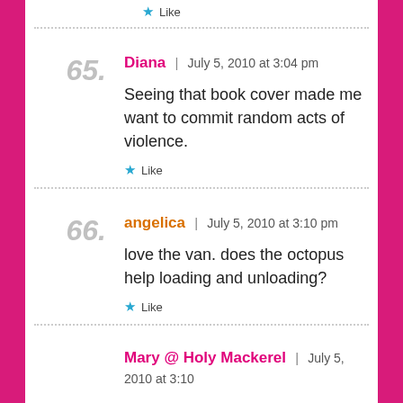Like (top)
65. Diana | July 5, 2010 at 3:04 pm
Seeing that book cover made me want to commit random acts of violence.
Like
66. angelica | July 5, 2010 at 3:10 pm
love the van. does the octopus help loading and unloading?
Like
Mary @ Holy Mackerel | July 5, 2010 at 3:10